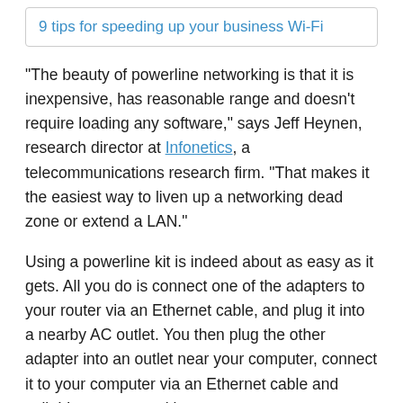9 tips for speeding up your business Wi-Fi
"The beauty of powerline networking is that it is inexpensive, has reasonable range and doesn't require loading any software," says Jeff Heynen, research director at Infonetics, a telecommunications research firm. "That makes it the easiest way to liven up a networking dead zone or extend a LAN."
Using a powerline kit is indeed about as easy as it gets. All you do is connect one of the adapters to your router via an Ethernet cable, and plug it into a nearby AC outlet. You then plug the other adapter into an outlet near your computer, connect it to your computer via an Ethernet cable and voila! Instant networking.